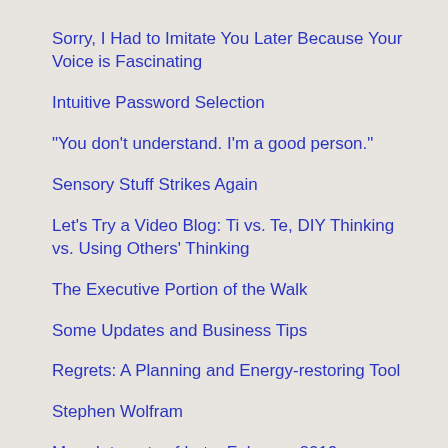Sorry, I Had to Imitate You Later Because Your Voice is Fascinating
Intuitive Password Selection
"You don't understand. I'm a good person."
Sensory Stuff Strikes Again
Let's Try a Video Blog: Ti vs. Te, DIY Thinking vs. Using Others' Thinking
The Executive Portion of the Walk
Some Updates and Business Tips
Regrets: A Planning and Energy-restoring Tool
Stephen Wolfram
More Interests of Late, February 2019